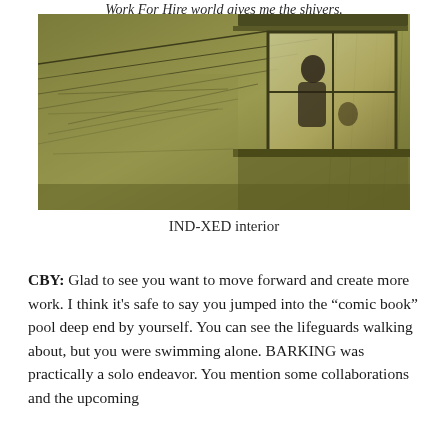Work For Hire world gives me the shivers.
[Figure (illustration): Darkly toned olive/sepia illustration of a building exterior with a figure visible behind a window or glass enclosure, with overhead wires and a sketchy, atmospheric quality.]
IND-XED interior
CBY: Glad to see you want to move forward and create more work. I think it's safe to say you jumped into the “comic book” pool deep end by yourself. You can see the lifeguards walking about, but you were swimming alone. BARKING was practically a solo endeavor. You mention some collaborations and the upcoming